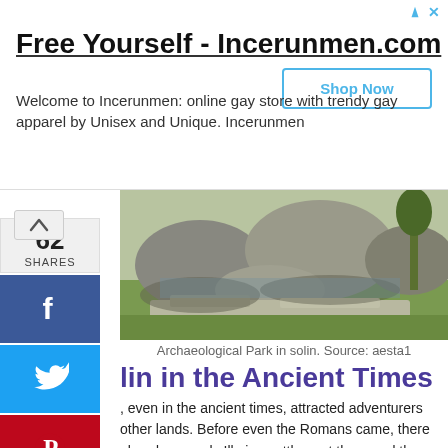[Figure (other): Advertisement banner for Incerunmen.com - Free Yourself, online gay store with trendy gay apparel. Includes Shop Now button.]
[Figure (photo): Photograph of the Archaeological Park in Solin showing ancient stone ruins and large boulders on grass]
Archaeological Park in solin. Source: aesta1
lin in the Ancient Times
, even in the ancient times, attracted adventurers other lands. Before even the Romans came, there already an early Illyrian settlement there and the eks later established an Emporium (marketplace). Greeks also connected Salona to their other ements in the towns of Issa (Vis island) and